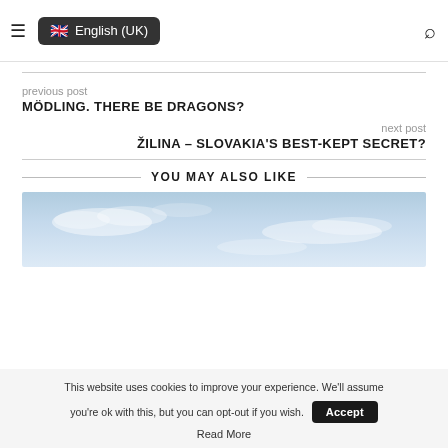≡ English (UK) [search icon]
previous post
MÖDLING. THERE BE DRAGONS?
next post
ŽILINA – SLOVAKIA'S BEST-KEPT SECRET?
YOU MAY ALSO LIKE
[Figure (photo): Sky with clouds, light blue gradient background]
This website uses cookies to improve your experience. We'll assume you're ok with this, but you can opt-out if you wish. Accept
Read More